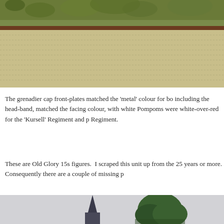[Figure (photo): Close-up photo of miniature wargaming terrain showing textured ground surface with green moss/foliage at the top and a beige/tan woven or dotted texture below, cropped at top of page.]
The grenadier cap front-plates matched the 'metal' colour for bo including the head-band, matched the facing colour, with white Pompoms were white-over-red for the 'Kursell' Regiment and p Regiment.
These are Old Glory 15s figures.  I scraped this unit up from the 25 years or more.  Consequently there are a couple of missing p
[Figure (photo): Photo of miniature wargaming figures against a light grey background, showing what appears to be a dark spire/tower shape and a green tree/bush shape, partially cropped at bottom of page.]